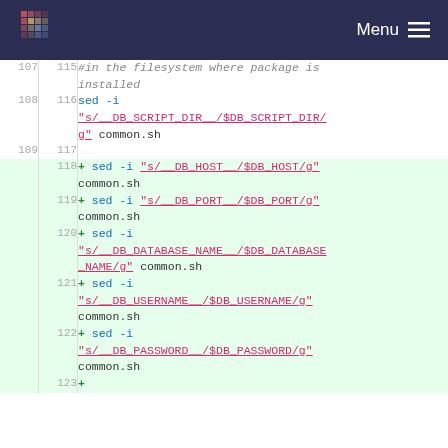Menu
[Figure (screenshot): Code diff view showing shell script lines 107-123, with lines 118-123 highlighted green as additions. Commands use sed -i to replace placeholders like __DB_SCRIPT_DIR__, __DB_HOST__, __DB_PORT__, __DB_DATABASE_NAME__, __DB_USERNAME__, __DB_PASSWORD__ with shell variables in common.sh.]